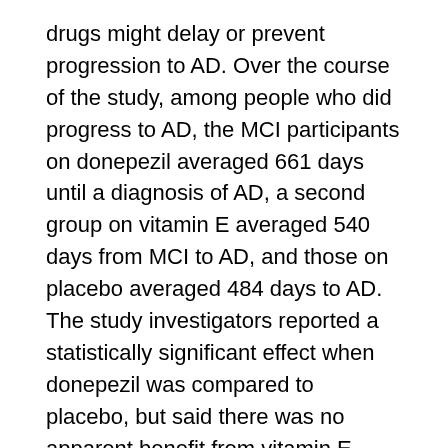drugs might delay or prevent progression to AD. Over the course of the study, among people who did progress to AD, the MCI participants on donepezil averaged 661 days until a diagnosis of AD, a second group on vitamin E averaged 540 days from MCI to AD, and those on placebo averaged 484 days to AD. The study investigators reported a statistically significant effect when donepezil was compared to placebo, but said there was no apparent benefit from vitamin E.
The NIA and the scientists conducting the study emphasized that further analyses will be needed to assess the practical, clinical implications of the new data; the study is very complex, and the effects appear time limited. "We will subject the